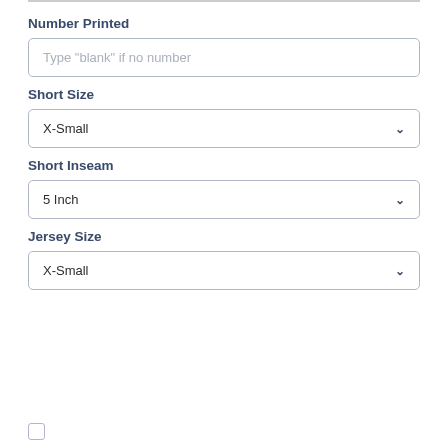Number Printed
Type "blank" if no number
Short Size
X-Small
Short Inseam
5 Inch
Jersey Size
X-Small